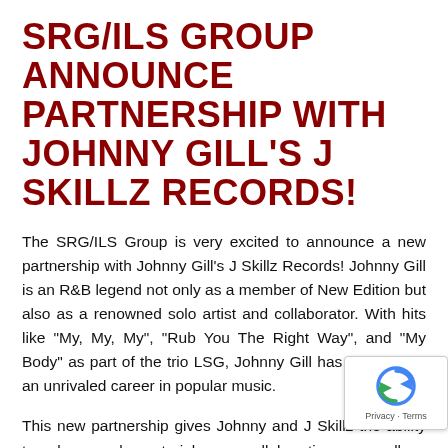SRG/ILS GROUP ANNOUNCE PARTNERSHIP WITH JOHNNY GILL'S J SKILLZ RECORDS!
The SRG/ILS Group is very excited to announce a new partnership with Johnny Gill's J Skillz Records! Johnny Gill is an R&B legend not only as a member of New Edition but also as a renowned solo artist and collaborator. With hits like "My, My, My", "Rub You The Right Way", and "My Body" as part of the trio LSG, Johnny Gill has established an unrivaled career in popular music.
This new partnership gives Johnny and J Skillz the ability to release solo material, new collaborations as well as music from many of Johnny's famous talented friends.